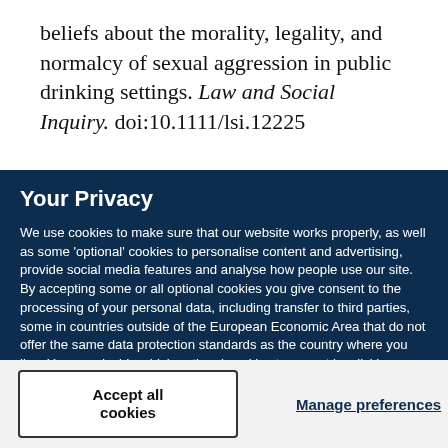beliefs about the morality, legality, and normalcy of sexual aggression in public drinking settings. Law and Social Inquiry. doi:10.1111/lsi.12225
Your Privacy
We use cookies to make sure that our website works properly, as well as some 'optional' cookies to personalise content and advertising, provide social media features and analyse how people use our site. By accepting some or all optional cookies you give consent to the processing of your personal data, including transfer to third parties, some in countries outside of the European Economic Area that do not offer the same data protection standards as the country where you live. You can decide which optional cookies to accept by clicking on 'Manage Settings', where you can also find more information about how your personal data is processed. Further information can be found in our privacy policy.
Accept all cookies
Manage preferences